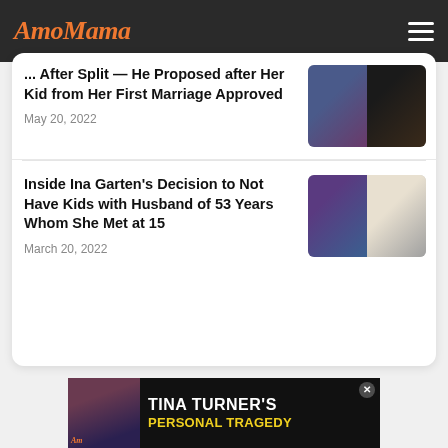AmoMama
... After Split — He Proposed after Her Kid from Her First Marriage Approved
May 20, 2022
Inside Ina Garten's Decision to Not Have Kids with Husband of 53 Years Whom She Met at 15
March 20, 2022
[Figure (photo): Advertisement banner for Tina Turner's Personal Tragedy with photo of Tina Turner]
TINA TURNER'S PERSONAL TRAGEDY